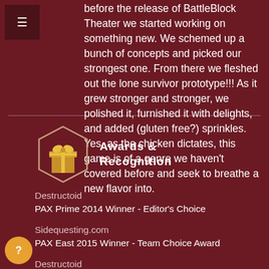before the release of BattleBlock Theater we started working on something new. We schemed up a bunch of concepts and picked our strongest one. From there we fleshed out the lone survivor prototype!!! As it grew stronger and stronger, we polished it, furnished it with delights, and added (gluten free?) sprinkles. Yes, as the chicken dictates, this game is of a genre we haven't covered before and seek to breathe a new flavor into.
Awards & Recognition
Destructoid
PAX Prime 2014 Winner - Editor's Choice
Sidequesting.com
PAX East 2015 Winner - Team Choice Award
Destructoid
PAX East 2015 Winner - Community Choice Award